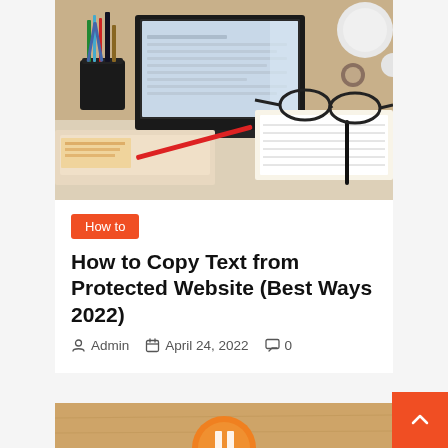[Figure (photo): Overhead/angled view of a study desk with an open laptop showing a document, pens and scissors in a holder, scattered magazines and books, glasses, and a ball of yarn in the background]
How to
How to Copy Text from Protected Website (Best Ways 2022)
Admin   April 24, 2022   0
[Figure (photo): Bottom partial photo showing a wooden surface with an orange circular icon/logo]